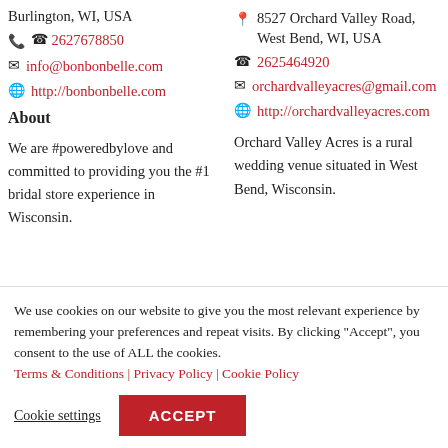Burlington, WI, USA
2627678850
info@bonbonbelle.com
http://bonbonbelle.com
About
We are #poweredbylove and committed to providing you the #1 bridal store experience in Wisconsin.
8527 Orchard Valley Road, West Bend, WI, USA
2625464920
orchardvalleyacres@gmail.com
http://orchardvalleyacres.com
Orchard Valley Acres is a rural wedding venue situated in West Bend, Wisconsin.
We use cookies on our website to give you the most relevant experience by remembering your preferences and repeat visits. By clicking “Accept”, you consent to the use of ALL the cookies. Terms & Conditions | Privacy Policy | Cookie Policy
Cookie settings
ACCEPT